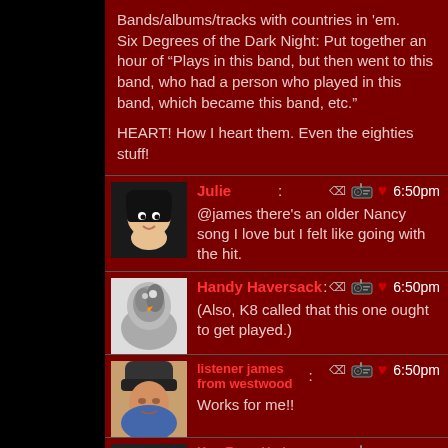Bands/albums/tracks with countries in 'em. Six Degrees of the Dark Night: Put together an hour of "Plays in this band, but then went to this band, who had a person who played in this band, which became this band, etc." HEART! How I heart them. Even the eighties stuff!
Julie: @james there's an older Nancy song I love but I felt like going with the hit. 6:50pm
Handy Haversack: (Also, K8 called that this one ought to get played.) 6:50pm
listener james from westwood: Works for me!! 6:50pm
Ken From Hyde Park: My south-facing roof has deep snow sticking out over the eaves. On the east-facing panel, hardly anything. So your roof might be OK, 6:50pm